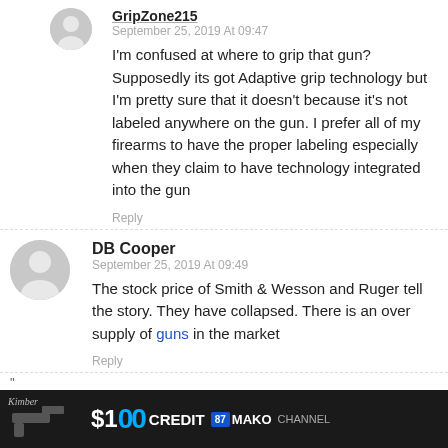GripZone215
September 25, 2019 At 09:47
I'm confused at where to grip that gun? Supposedly its got Adaptive grip technology but I'm pretty sure that it doesn't because it's not labeled anywhere on the gun. I prefer all of my firearms to have the proper labeling especially when they claim to have technology integrated into the gun
Reply
DB Cooper
September 25, 2019 At 09:49
The stock price of Smith & Wesson and Ruger tell the story. They have collapsed. There is an over supply of guns in the market
Reply
"
[Figure (photo): Advertisement banner showing $100 credit offer with MAKO branding against dark background with a handgun image]